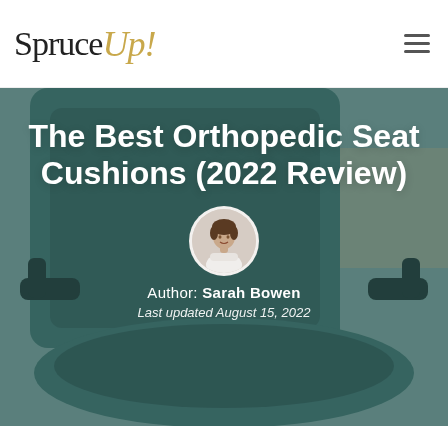Spruce Up! [logo with navigation hamburger menu]
[Figure (photo): Close-up photo of a teal/dark green ergonomic office chair showing the seat cushion and armrests, used as hero image background with semi-transparent teal overlay]
The Best Orthopedic Seat Cushions (2022 Review)
[Figure (photo): Circular author avatar photo of Sarah Bowen, a woman with curly hair wearing a white shirt, arms crossed, smiling]
Author: Sarah Bowen
Last updated August 15, 2022